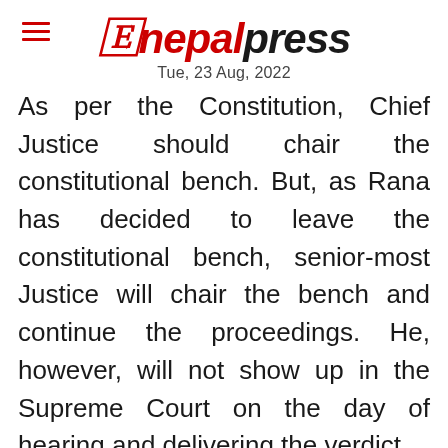nepalpress
Tue, 23 Aug, 2022
As per the Constitution, Chief Justice should chair the constitutional bench. But, as Rana has decided to leave the constitutional bench, senior-most Justice will chair the bench and continue the proceedings. He, however, will not show up in the Supreme Court on the day of hearing and delivering the verdict.